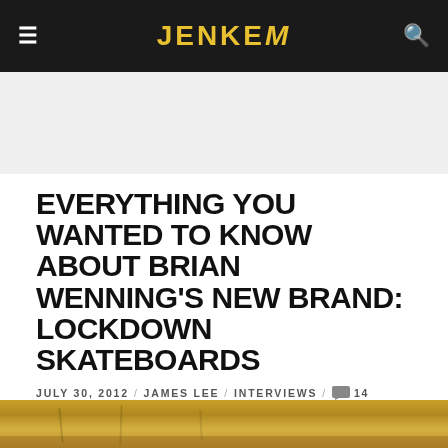JENKEM
EVERYTHING YOU WANTED TO KNOW ABOUT BRIAN WENNING'S NEW BRAND: LOCKDOWN SKATEBOARDS
JULY 30, 2012 / JAMES LEE / INTERVIEWS / 14
SHARE   TWEET   +
[Figure (photo): Bottom portion of a wooden skate deck or floor, warm golden/amber tones]